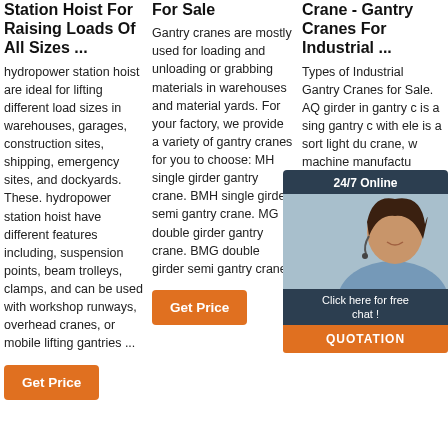Station Hoist For Raising Loads Of All Sizes ...
hydropower station hoist are ideal for lifting different load sizes in warehouses, garages, construction sites, shipping, emergency sites, and dockyards. These. hydropower station hoist have different features including, suspension points, beam trolleys, clamps, and can be used with workshop runways, overhead cranes, or mobile lifting gantries ...
For Sale
Gantry cranes are mostly used for loading and unloading or grabbing materials in warehouses and material yards. For your factory, we provide a variety of gantry cranes for you to choose: MH single girder gantry crane. BMH single girder semi gantry crane. MG double girder gantry crane. BMG double girder semi gantry crane.
Crane - Gantry Cranes For Industrial ...
Types of Industrial Gantry Cranes for Sale. AQ girder in gantry c is a sing gantry c with ele is a sort light du crane, w machine manufactu assembly, warehouses and other places. The main girder forms can be box girder or truss girder.
[Figure (photo): Customer service chat widget showing a woman with headset, 24/7 Online label, Click here for free chat button, and QUOTATION button in orange]
Get Price (column 1)
Get Price (column 2)
Get Price (column 3)